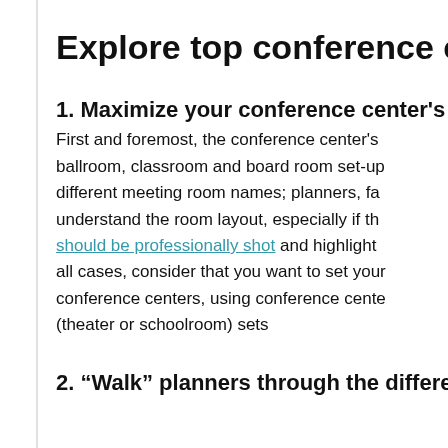Explore top conference centers
1. Maximize your conference center's
First and foremost, the conference center's ballroom, classroom and board room set-up different meeting room names; planners, fa understand the room layout, especially if th should be professionally shot and highlight all cases, consider that you want to set your conference centers, using conference cente (theater or schoolroom) sets
2. “Walk” planners through the difference